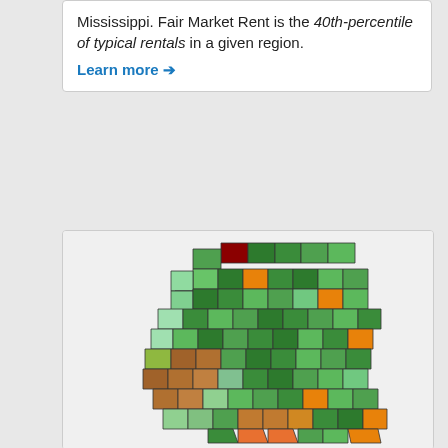Mississippi. Fair Market Rent is the 40th-percentile of typical rentals in a given region.
Learn more →
[Figure (map): Choropleth map of Mississippi counties showing Fair Market Rent variation by color. Counties are colored in shades of green (lower rents), orange (moderate), and dark red (highest rent). One county in the north (likely DeSoto) is dark red, several are orange, and the majority are various shades of green. The lower-central region shows some olive/brown coloring.]